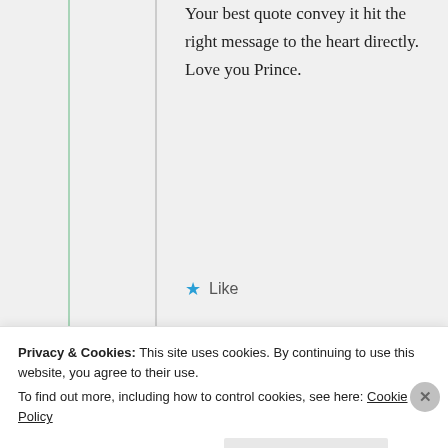Your best quote convey it hit the right message to the heart directly. Love you Prince.
★ Like
[Figure (illustration): Golden/olive coloured circular avatar icon with a star-like geometric pattern]
mildredprincewelch
9th Jul 2021 at 2:46 am
Privacy & Cookies: This site uses cookies. By continuing to use this website, you agree to their use.
To find out more, including how to control cookies, see here: Cookie Policy
Close and accept